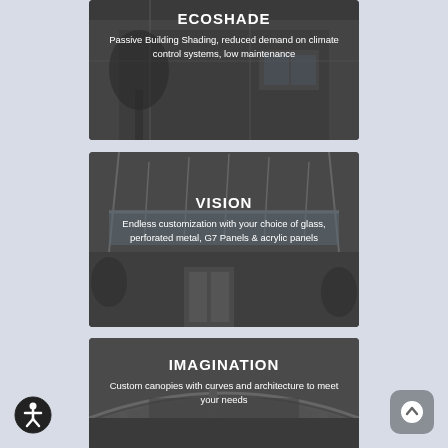[Figure (photo): Greyscale photo of a building with shading canopy, overlaid dark panel with ECOSHADE title and description text]
ECOSHADE
Passive Building Shading, reduced demand on climate control systems, low maintenance
[Figure (photo): Greyscale photo of building entrance with canopy, overlaid dark panel with VISION title and description text]
VISION
Endless customization with your choice of glass, perforated metal, G7 Panels & acrylic panels
[Figure (photo): Greyscale photo of curved canopy structure, overlaid dark panel with IMAGINATION title and description text]
IMAGINATION
Custom canopies with curves and architecture to meet your needs